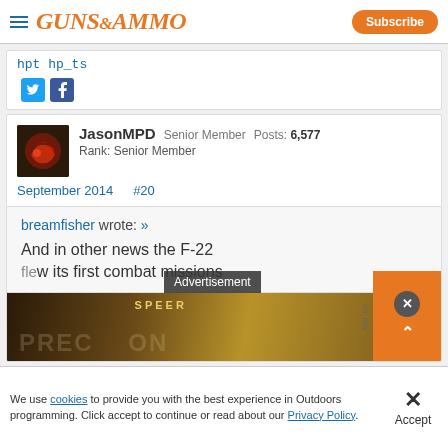GUNS&AMMO — Subscribe
hpt hp_ts
[Figure (screenshot): Twitter and Facebook social share icons]
JasonMPD Senior Member Posts: 6,577
Rank: Senior Member
September 2014  #20
breamfisher wrote: »
And in other news the F-22 flew its first combat missions
[Figure (screenshot): SPEER PRECISION advertisement banner overlay]
We use cookies to provide you with the best experience in Outdoors programming. Click accept to continue or read about our Privacy Policy.